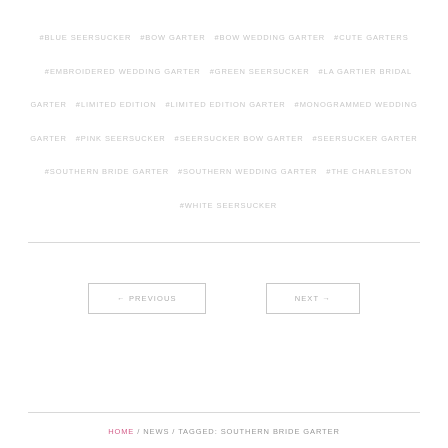#BLUE SEERSUCKER  #BOW GARTER  #BOW WEDDING GARTER  #CUTE GARTERS  #EMBROIDERED WEDDING GARTER  #GREEN SEERSUCKER  #LA GARTIER BRIDAL GARTER  #LIMITED EDITION  #LIMITED EDITION GARTER  #MONOGRAMMED WEDDING GARTER  #PINK SEERSUCKER  #SEERSUCKER BOW GARTER  #SEERSUCKER GARTER  #SOUTHERN BRIDE GARTER  #SOUTHERN WEDDING GARTER  #THE CHARLESTON  #WHITE SEERSUCKER
← PREVIOUS
NEXT →
HOME / NEWS / TAGGED: SOUTHERN BRIDE GARTER